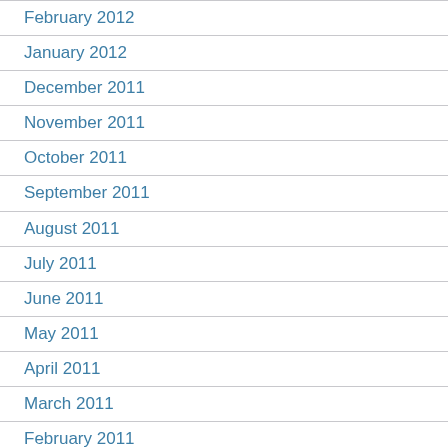February 2012
January 2012
December 2011
November 2011
October 2011
September 2011
August 2011
July 2011
June 2011
May 2011
April 2011
March 2011
February 2011
January 2011
December 2010